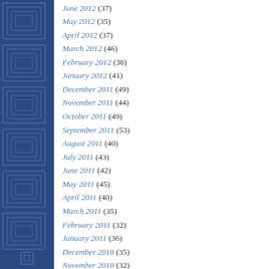June 2012 (37)
May 2012 (35)
April 2012 (37)
March 2012 (46)
February 2012 (38)
January 2012 (41)
December 2011 (49)
November 2011 (44)
October 2011 (49)
September 2011 (53)
August 2011 (40)
July 2011 (43)
June 2011 (42)
May 2011 (45)
April 2011 (40)
March 2011 (35)
February 2011 (32)
January 2011 (36)
December 2010 (35)
November 2010 (32)
October 2010 (34)
September 2010 (31)